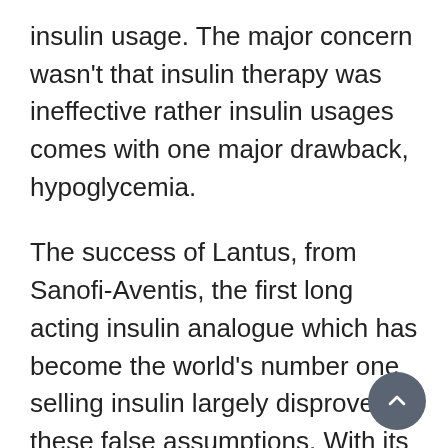insulin usage. The major concern wasn't that insulin therapy was ineffective rather insulin usages comes with one major drawback, hypoglycemia.
The success of Lantus, from Sanofi-Aventis, the first long acting insulin analogue which has become the world's number one selling insulin largely disproved these false assumptions. With its long-acting profile physicians began prescribing Lantus to their type 2 patients to be used in conjunction with oral medications. Physicians